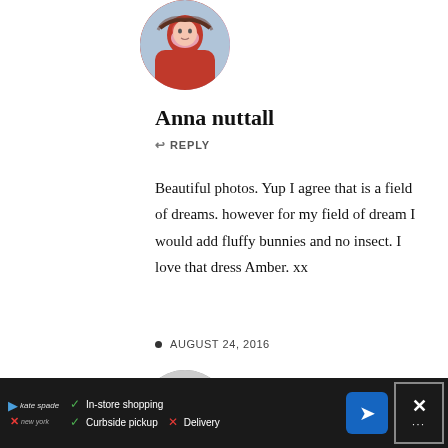[Figure (photo): Circular profile photo of Anna nuttall, a young girl in a pink jacket]
Anna nuttall
↩ REPLY
Beautiful photos. Yup I agree that is a field of dreams. however for my field of dream I would add fluffy bunnies and no insect. I love that dress Amber. xx
AUGUST 24, 2016
[Figure (photo): Circular grey placeholder avatar for a second commenter]
[Figure (screenshot): Advertisement banner for Kate Spade showing In-store shopping, Curbside pickup, and Delivery options with a navigation icon and close button]